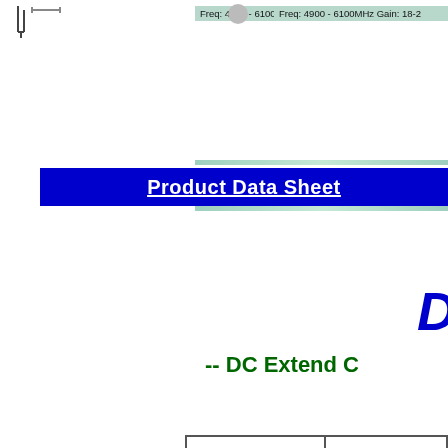[Figure (photo): Antenna images with frequency label: Freq: 4900 - 6100MHz Gain: 18-20dBi]
Product Data Sheet
D
-- DC Extend C
| 1.DC Extend Connector 1 to 1 10.5cm |  |
| 2.DC Extend Connector |  |